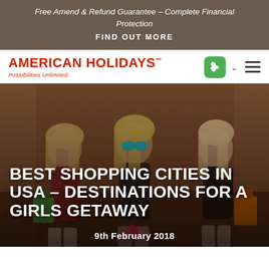Free Amend & Refund Guarantee – Complete Financial Protection
FIND OUT MORE
[Figure (logo): American Holidays logo with tagline 'Possibilities Unlimited.' in red, plus phone icon and hamburger menu]
[Figure (photo): Three young women with sunglasses carrying shopping bags, laughing together outdoors against a brick building backdrop]
BEST SHOPPING CITIES IN USA – DESTINATIONS FOR A GIRLS GETAWAY
9th February 2018